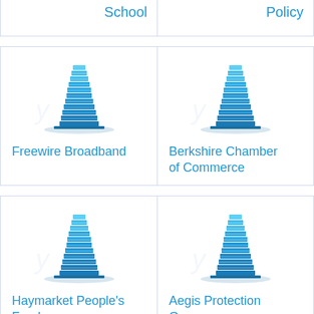School
Policy
[Figure (logo): Building/office tower icon for Freewire Broadband]
Freewire Broadband
[Figure (logo): Building/office tower icon for Berkshire Chamber of Commerce]
Berkshire Chamber of Commerce
[Figure (logo): Building/office tower icon for Haymarket People's Fund]
Haymarket People's Fund
[Figure (logo): Building/office tower icon for Aegis Protection Group]
Aegis Protection Group